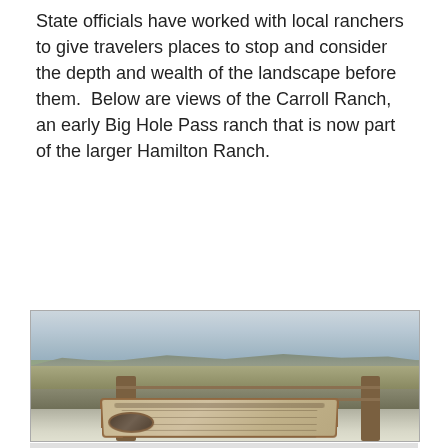State officials have worked with local ranchers to give travelers places to stop and consider the depth and wealth of the landscape before them.  Below are views of the Carroll Ranch, an early Big Hole Pass ranch that is now part of the larger Hamilton Ranch.
[Figure (photo): Photograph of a wide open rangeland landscape with overcast skies, rolling hills in the distance with snow patches, sagebrush-covered plains in the middle ground, a wooden split-rail fence with posts, and an interpretive wayside sign/kiosk in the foreground with a framed panel containing text and a small oval photograph, all lightly dusted with snow.]